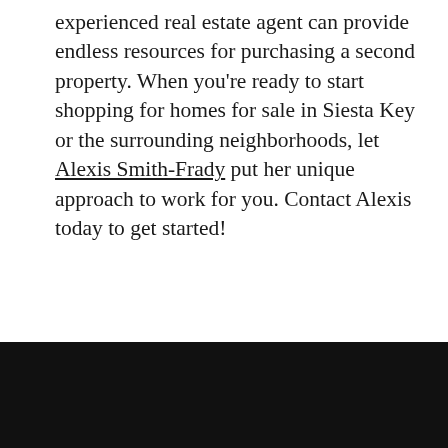experienced real estate agent can provide endless resources for purchasing a second property. When you're ready to start shopping for homes for sale in Siesta Key or the surrounding neighborhoods, let Alexis Smith-Frady put her unique approach to work for you. Contact Alexis today to get started!
[Figure (infographic): Three social media icon circles (Facebook, Twitter, Email) centered horizontally, plus a floating email button and a floating phone button on the right side, and a black footer bar at the bottom.]